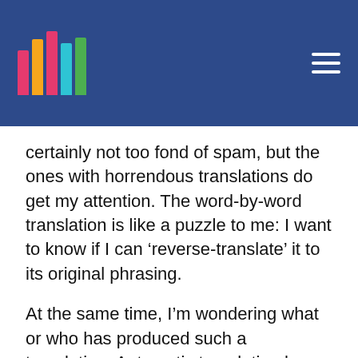[Logo with colored bars] [Hamburger menu icon]
certainly not too fond of spam, but the ones with horrendous translations do get my attention. The word-by-word translation is like a puzzle to me: I want to know if I can ‘reverse-translate’ it to its original phrasing.
At the same time, I’m wondering what or who has produced such a translation. Automatic translation has come very far: It has become very hard to find a free translation service that does a worse than mediocre job. I realize that this little joy of reading out loud the worst bloopers from my inbox will soon